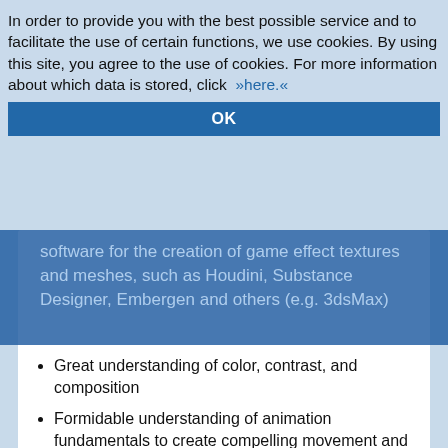In order to provide you with the best possible service and to facilitate the use of certain functions, we use cookies. By using this site, you agree to the use of cookies. For more information about which data is stored, click »here.«
software for the creation of game effect textures and meshes, such as Houdini, Substance Designer, Embergen and others (e.g. 3dsMax)
Great understanding of color, contrast, and composition
Formidable understanding of animation fundamentals to create compelling movement and flow
Keen understanding of common performance concerns, and the ability to navigate them with one eye on the big picture and context of where your effects will be used.
Great communication and self-organization skills
Knowledge of (...)  Tracking / Placement (...